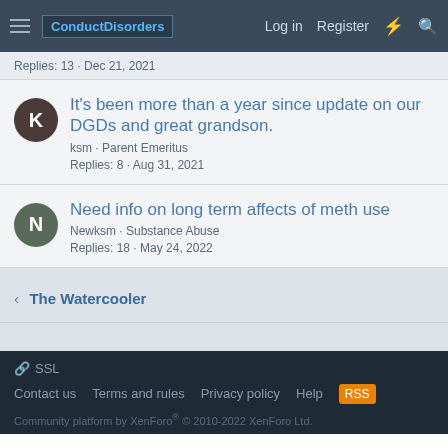ConductDisorders | Log in | Register
Replies: 13 · Dec 21, 2021
It's been more than a year since update on our DGDs and great grandson. ksm · Parent Emeritus · Replies: 8 · Aug 31, 2021
Need info on long term affects of meth use · Newksm · Substance Abuse · Replies: 18 · May 24, 2022
< The Watercooler
SSL · Contact us · Terms and rules · Privacy policy · Help · Community platform by XenForo® © 2010-2022 XenForo Ltd.